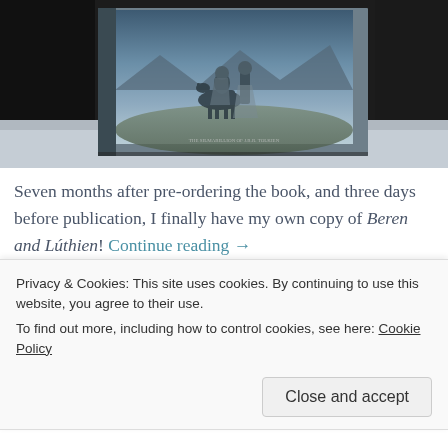[Figure (photo): A photograph of a standing book with fantasy artwork on its cover showing figures and a horse/donkey on a landscape, photographed against a dark background on a light surface.]
Seven months after pre-ordering the book, and three days before publication, I finally have my own copy of Beren and Lúthien! Continue reading →
Privacy & Cookies: This site uses cookies. By continuing to use this website, you agree to their use.
To find out more, including how to control cookies, see here: Cookie Policy